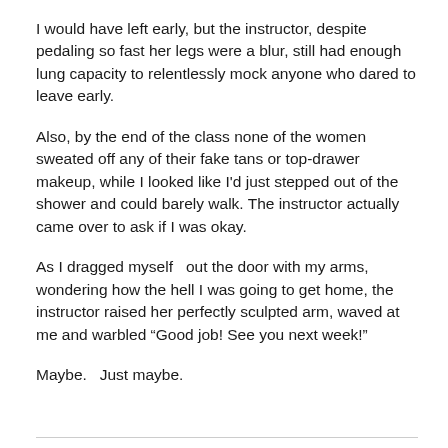I would have left early, but the instructor, despite pedaling so fast her legs were a blur, still had enough lung capacity to relentlessly mock anyone who dared to leave early.
Also, by the end of the class none of the women sweated off any of their fake tans or top-drawer makeup, while I looked like I'd just stepped out of the shower and could barely walk. The instructor actually came over to ask if I was okay.
As I dragged myself  out the door with my arms, wondering how the hell I was going to get home, the instructor raised her perfectly sculpted arm, waved at me and warbled “Good job! See you next week!”
Maybe.  Just maybe.